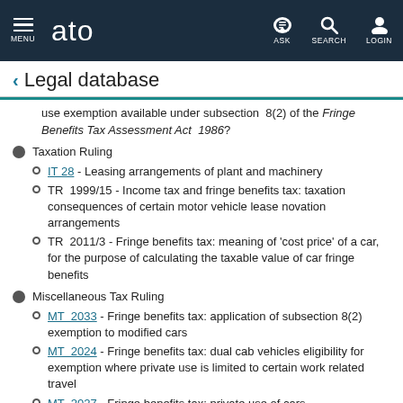ato | MENU | ASK | SEARCH | LOGIN
Legal database
use exemption available under subsection 8(2) of the Fringe Benefits Tax Assessment Act 1986?
Taxation Ruling
IT 28 - Leasing arrangements of plant and machinery
TR 1999/15 - Income tax and fringe benefits tax: taxation consequences of certain motor vehicle lease novation arrangements
TR 2011/3 - Fringe benefits tax: meaning of 'cost price' of a car, for the purpose of calculating the taxable value of car fringe benefits
Miscellaneous Tax Ruling
MT 2033 - Fringe benefits tax: application of subsection 8(2) exemption to modified cars
MT 2024 - Fringe benefits tax: dual cab vehicles eligibility for exemption where private use is limited to certain work related travel
MT 2027 - Fringe benefits tax: private use of cars -